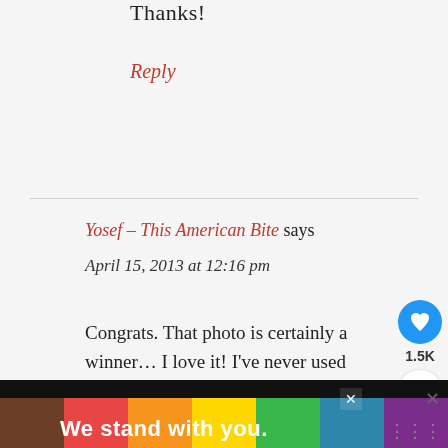Thanks!
Reply
Yosef - This American Bite says April 15, 2013 at 12:16 pm
Congrats. That photo is certainly a winner… I love it! I've never used baking soda in my hummus recipe and am always looking to tweak it as I make a batch almost every week. I recently
[Figure (screenshot): Ad banner: rainbow stripes with text 'We stand with you.' and close buttons]
[Figure (infographic): What's Next overlay with food image and text: Panisse | Chickpea...]